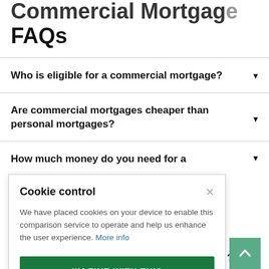Commercial Mortgage FAQs
Who is eligible for a commercial mortgage?
Are commercial mortgages cheaper than personal mortgages?
How much money do you need for a [commercial mortgage?]
Cookie control
We have placed cookies on your device to enable this comparison service to operate and help us enhance the user experience. More info
I'M FINE WITH THIS